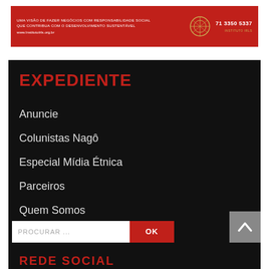Uma Visão de Fazer Negócios com Responsabilidade Social que Contribua com o Desenvolvimento Sustentável www.InstitutoIrls.org.br  71 3350 5337
EXPEDIENTE
Anuncie
Colunistas Nagô
Especial Mídia Étnica
Parceiros
Quem Somos
Sobre
PROCURAR ...
OK
REDE SOCIAL